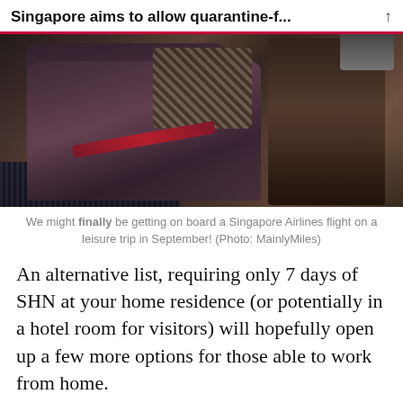Singapore aims to allow quarantine-f...
[Figure (photo): Interior of a Singapore Airlines business/first class cabin showing a purple leather seat with a houndstooth pillow, a seatbelt across the seat, and wooden side panels.]
We might finally be getting on board a Singapore Airlines flight on a leisure trip in September! (Photo: MainlyMiles)
An alternative list, requiring only 7 days of SHN at your home residence (or potentially in a hotel room for visitors) will hopefully open up a few more options for those able to work from home.